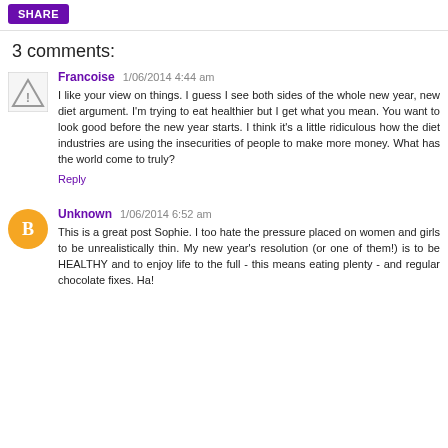[Figure (other): Purple share button]
3 comments:
Francoise  1/06/2014 4:44 am
I like your view on things. I guess I see both sides of the whole new year, new diet argument. I'm trying to eat healthier but I get what you mean. You want to look good before the new year starts. I think it's a little ridiculous how the diet industries are using the insecurities of people to make more money. What has the world come to truly?
Reply
Unknown  1/06/2014 6:52 am
This is a great post Sophie. I too hate the pressure placed on women and girls to be unrealistically thin. My new year's resolution (or one of them!) is to be HEALTHY and to enjoy life to the full - this means eating plenty - and regular chocolate fixes. Ha!